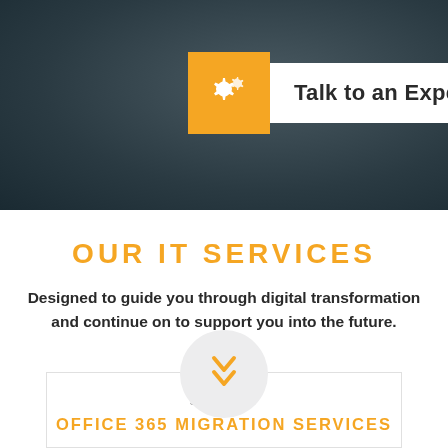[Figure (other): Dark grey hero banner with gear icons and a 'Talk to an Expert' call-to-action button featuring an orange icon box and white label box]
OUR IT SERVICES
Designed to guide you through digital transformation and continue on to support you into the future.
[Figure (other): Light grey circle with orange double chevron down icon, overlapping a bordered service card]
SERVICE
OFFICE 365 MIGRATION SERVICES